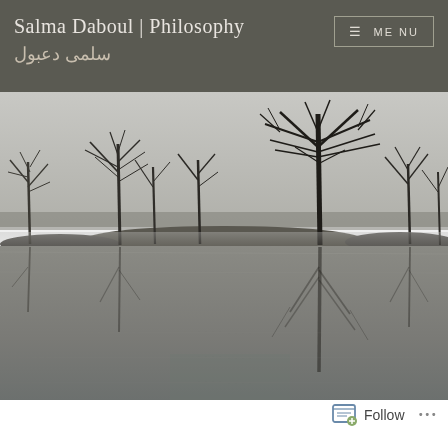Salma Daboul | Philosophy
سلمى دعبول
[Figure (photo): Black and white landscape photograph of bare winter trees reflected in a calm, misty lake or flooded area. Bare deciduous trees and one large leafless tree are on small islands or land masses in the water, with reflections visible in the still water below and a grey overcast sky.]
Follow  ...